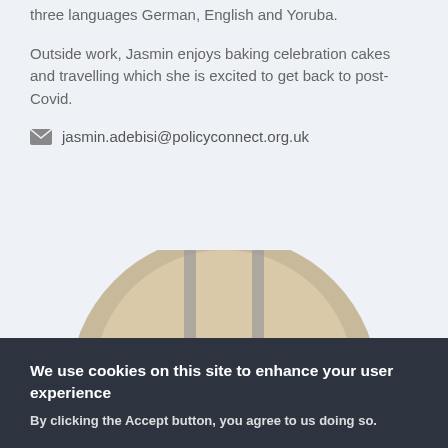three languages German, English and Yoruba.
Outside work, Jasmin enjoys baking celebration cakes and travelling which she is excited to get back to post-Covid.
jasmin.adebisi@policyconnect.org.uk
[Figure (photo): Circular profile photo of a person viewed from above, sitting in a room with grey partitions and a beige/cream circular platform or seat.]
We use cookies on this site to enhance your user experience
By clicking the Accept button, you agree to us doing so.